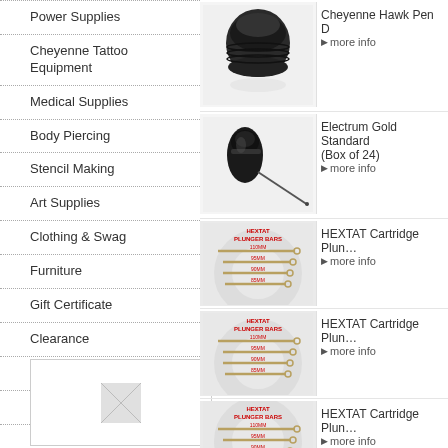Power Supplies
Cheyenne Tattoo Equipment
Medical Supplies
Body Piercing
Stencil Making
Art Supplies
Clothing & Swag
Furniture
Gift Certificate
Clearance
New Products
Downloads
[Figure (photo): Thumbnail image placeholder in bottom-left]
[Figure (photo): Cheyenne Hawk Pen D product photo - black rubber grip piece]
Cheyenne Hawk Pen D
more info
[Figure (photo): Electrum Gold Standard product - cartridge needle with long thin rod]
Electrum Gold Standard (Box of 24)
more info
[Figure (infographic): HEXTAT Plunger Bars product image showing multiple sizes: 110MM, 95MM, 90MM, 85MM]
HEXTAT Cartridge Plunger Bars
more info
[Figure (infographic): HEXTAT Plunger Bars product image showing multiple sizes: 110MM, 95MM, 90MM, 85MM]
HEXTAT Cartridge Plunger Bars
more info
[Figure (infographic): HEXTAT Plunger Bars product image showing multiple sizes: 110MM, 95MM, 90MM, 85MM]
HEXTAT Cartridge Plunger Bars
more info